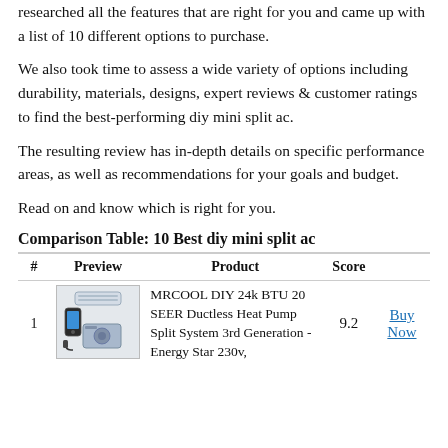researched all the features that are right for you and came up with a list of 10 different options to purchase.
We also took time to assess a wide variety of options including durability, materials, designs, expert reviews & customer ratings to find the best-performing diy mini split ac.
The resulting review has in-depth details on specific performance areas, as well as recommendations for your goals and budget.
Read on and know which is right for you.
Comparison Table: 10 Best diy mini split ac
| # | Preview | Product | Score |  |
| --- | --- | --- | --- | --- |
| 1 | [image] | MRCOOL DIY 24k BTU 20 SEER Ductless Heat Pump Split System 3rd Generation - Energy Star 230v, | 9.2 | Buy Now |